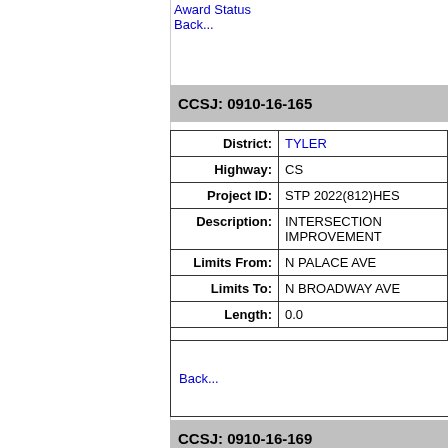Award Status
Back...
CCSJ: 0910-16-165
| Field | Value |
| --- | --- |
| District: | TYLER |
| Highway: | CS |
| Project ID: | STP 2022(812)HES |
| Description: | INTERSECTION IMPROVEMENT |
| Limits From: | N PALACE AVE |
| Limits To: | N BROADWAY AVE |
| Length: | 0.0 |
Back...
CCSJ: 0910-16-169